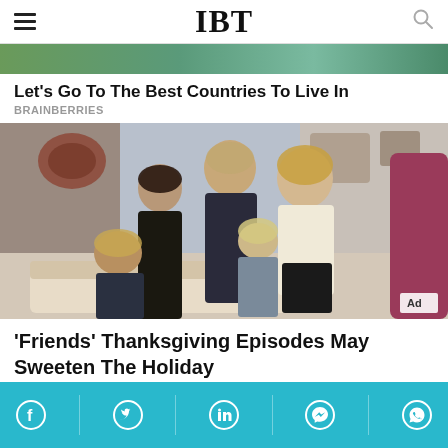IBT
[Figure (photo): Partial view of a nature/travel advertisement image strip]
Let's Go To The Best Countries To Live In
BRAINBERRIES
[Figure (photo): Cast of Friends TV show standing in the apartment set, several characters looking at someone off-frame. Ad badge visible.]
'Friends' Thanksgiving Episodes May Sweeten The Holiday
Social sharing bar with Facebook, Twitter, LinkedIn, Messenger, WhatsApp icons